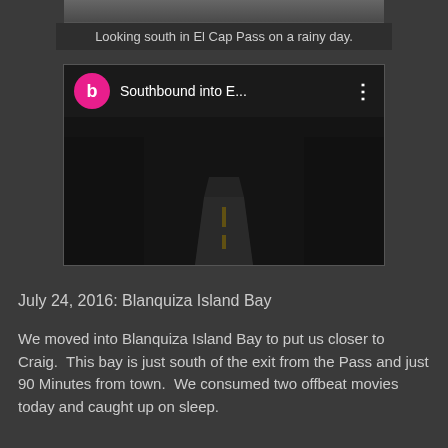[Figure (photo): Top portion of a rainy landscape photo, cropped at top edge]
Looking south in El Cap Pass on a rainy day.
[Figure (screenshot): YouTube video thumbnail showing 'Southbound into E...' with a pink avatar circle with letter b, a red play button, and a dark rainy road scene in background]
July 24, 2016: Blanquiza Island Bay
We moved into Blanquiza Island Bay to put us closer to Craig.  This bay is just south of the exit from the Pass and just 90 Minutes from town.  We consumed two offbeat movies today and caught up on sleep.